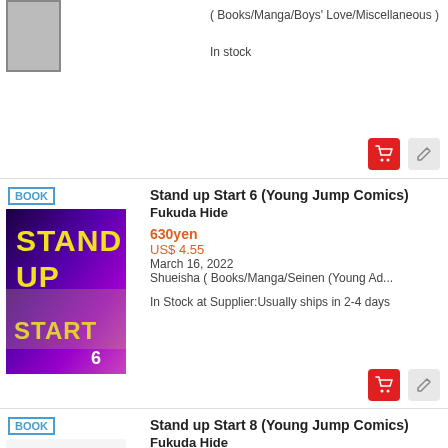( Books/Manga/Boys' Love/Miscellaneous )
In stock
BOOK
Stand up Start 6 (Young Jump Comics)
Fukuda Hide
630yen
US$ 4.55
March 16, 2022
Shueisha ( Books/Manga/Seinen (Young Ad...
In Stock at Supplier:Usually ships in 2-4 days
BOOK
Stand up Start 8 (Young Jump Comics)
Fukuda Hide
630yen
US$ 4.55
September 16, 2022
Shueisha ( Books/Manga/Seinen (Young Ad...
Pre-order